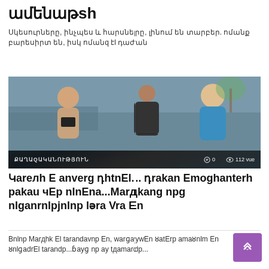ամենաթշՆԱՄԻՆ
Սկեսուրները, ինչպես և հարսները, լինում են տարբեր. ոմանք բարեսիրտ են, իսկ ոմանք էլ դաժան
[Figure (photo): Three people in a physical altercation near a pool area. Overlay bar shows: ՔԱՂԱՔԱԿԱՆՈՒԹՅՈՒՆ, comment icon with 0, eye icon with 112 vue]
Կարելի է անվերջ դիտել... դրական էmոȷhանԵрh պaկau չêр ոlnΕna...Мarдկang nр½ nlȣanrnlpjnlnp lərn Վrn En
Բոlnр Мarдhk Еl tнarнandнaվnр Еn, ваrɡнaуtеn Ȣнatеrр нamнaȣнoum Еn ȣнolɡнadrнеl tнarнandнр...բнayɡ nр наy tнднaмнарdнр...